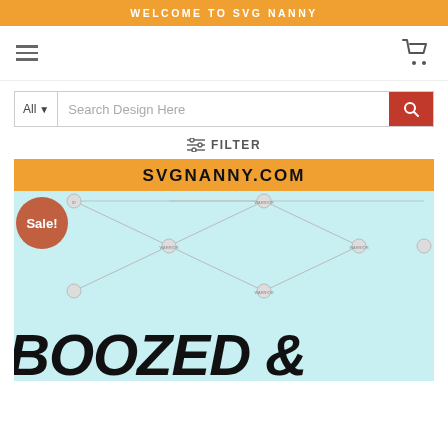WELCOME TO SVG NANNY
[Figure (screenshot): Navigation bar with hamburger menu icon on left and shopping cart icon on right]
[Figure (screenshot): Search bar with 'All' dropdown, 'Search Design Here' placeholder text, and red search button]
≡ FILTER
[Figure (screenshot): Product card showing 'SVGNANNY.COM' orange banner, a Sale! badge, network/diamond pattern overlay on light blue background, and partial large bold italic text reading 'BOOZED &']